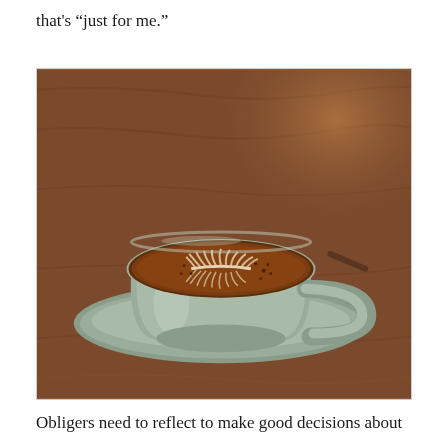that's “just for me.”
[Figure (photo): A cappuccino or hot chocolate in a sage green ceramic cup on a matching saucer, with latte art (leaf/fern pattern) on the surface, sitting on a wooden table.]
Obligers need to reflect to make good decisions about